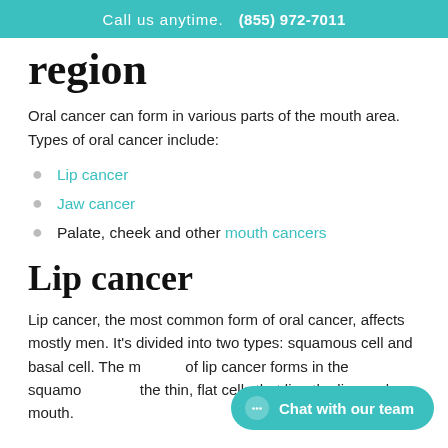Call us anytime. (855) 972-7011
region
Oral cancer can form in various parts of the mouth area. Types of oral cancer include:
Lip cancer
Jaw cancer
Palate, cheek and other mouth cancers
Lip cancer
Lip cancer, the most common form of oral cancer, affects mostly men. It's divided into two types: squamous cell and basal cell. The majority of lip cancer forms in the squamous cells, the thin, flat cells that line the lips and mouth.